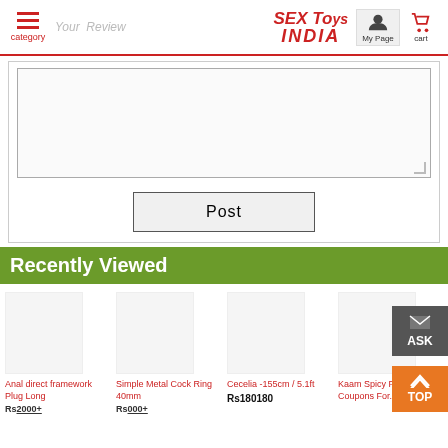SEX Toys INDIA | category | My Page | cart
[Figure (screenshot): Review text area input box with placeholder text 'Your Review', with a Post button below]
Recently Viewed
Anal direct framework Plug Long Rs2000+
Simple Metal Cock Ring 40mm Rs000+
Cecelia -155cm / 5.1ft Rs180180
Kaam Spicy Fantasies Coupons For...